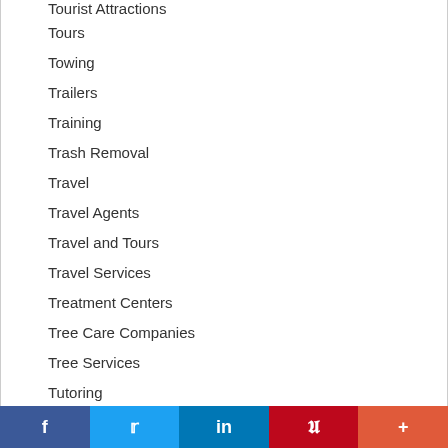Tourist Attractions
Tours
Towing
Trailers
Training
Trash Removal
Travel
Travel Agents
Travel and Tours
Travel Services
Treatment Centers
Tree Care Companies
Tree Services
Tutoring
f  Twitter  in  Pinterest  +